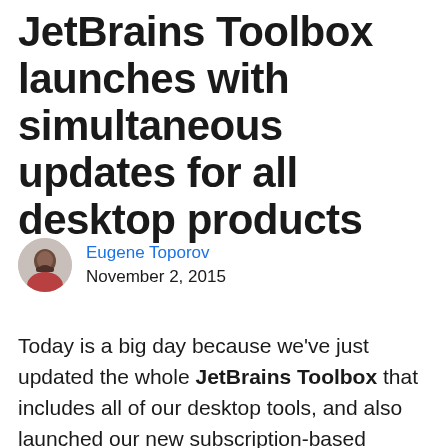JetBrains Toolbox launches with simultaneous updates for all desktop products
Eugene Toporov
November 2, 2015
Today is a big day because we've just updated the whole JetBrains Toolbox that includes all of our desktop tools, and also launched our new subscription-based licensing model for these products.